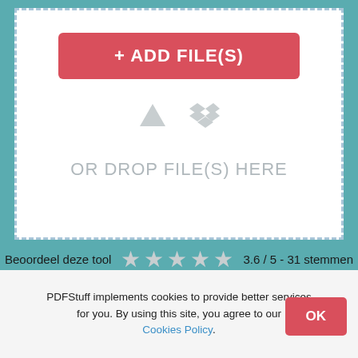[Figure (screenshot): File upload drop zone with a red '+ ADD FILE(S)' button, Google Drive and Dropbox icons, and 'OR DROP FILE(S) HERE' text inside a dashed border area]
OR DROP FILE(S) HERE
Beoordeel deze tool   3.6 / 5 - 31 stemmen
PDFStuff implements cookies to provide better services for you. By using this site, you agree to our Cookies Policy.